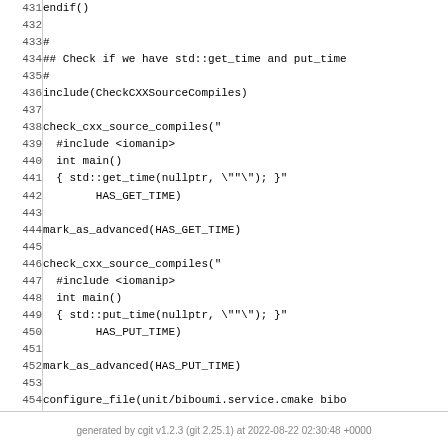Code listing lines 431-456: CMakeLists.txt snippet checking std::get_time and put_time, marking as advanced, and configure_file calls.
generated by cgit v1.2.3 (git 2.25.1) at 2022-08-22 02:30:48 +0000